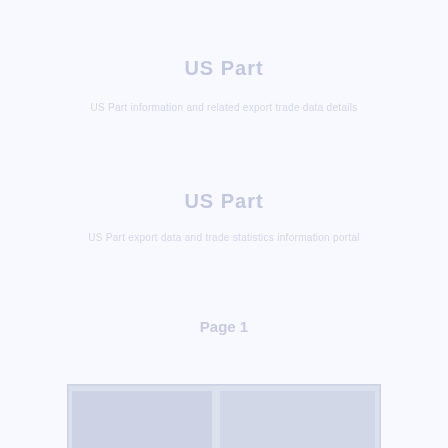US Part
US Part
US Part
Page 1
[Figure (screenshot): Faint screenshot or UI element block]
View asparagus export data of Ethiopia. Ethiopian customs exports data of asparagus includes hs code, value, quantity, asparagus exporters of Ethiopia.